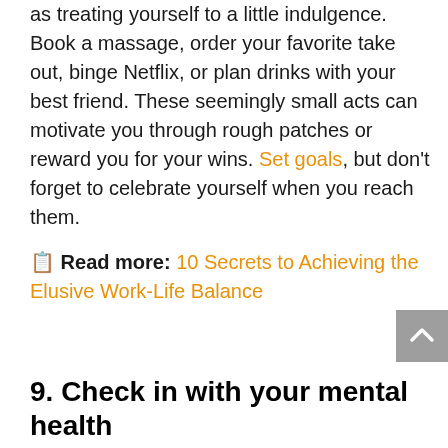as treating yourself to a little indulgence. Book a massage, order your favorite take out, binge Netflix, or plan drinks with your best friend. These seemingly small acts can motivate you through rough patches or reward you for your wins. Set goals, but don't forget to celebrate yourself when you reach them.
📋 Read more: 10 Secrets to Achieving the Elusive Work-Life Balance
9. Check in with your mental health